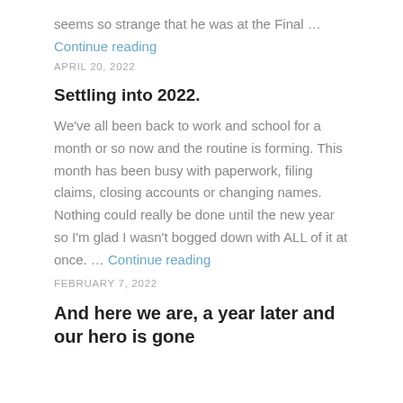seems so strange that he was at the Final …
Continue reading
APRIL 20, 2022
Settling into 2022.
We've all been back to work and school for a month or so now and the routine is forming. This month has been busy with paperwork, filing claims, closing accounts or changing names. Nothing could really be done until the new year so I'm glad I wasn't bogged down with ALL of it at once. … Continue reading
FEBRUARY 7, 2022
And here we are, a year later and our hero is gone